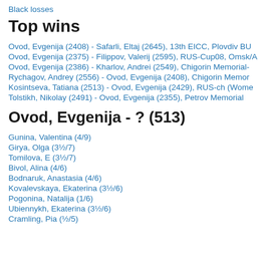Black losses
Top wins
Ovod, Evgenija (2408) - Safarli, Eltaj (2645), 13th EICC, Plovdiv BU
Ovod, Evgenija (2375) - Filippov, Valerij (2595), RUS-Cup08, Omsk/A
Ovod, Evgenija (2386) - Kharlov, Andrei (2549), Chigorin Memorial-
Rychagov, Andrey (2556) - Ovod, Evgenija (2408), Chigorin Memor
Kosintseva, Tatiana (2513) - Ovod, Evgenija (2429), RUS-ch (Wome
Tolstikh, Nikolay (2491) - Ovod, Evgenija (2355), Petrov Memorial
Ovod, Evgenija - ? (513)
Gunina, Valentina (4/9)
Girya, Olga (3½/7)
Tomilova, E (3½/7)
Bivol, Alina (4/6)
Bodnaruk, Anastasia (4/6)
Kovalevskaya, Ekaterina (3½/6)
Pogonina, Natalija (1/6)
Ubiennykh, Ekaterina (3½/6)
Cramling, Pia (½/5)